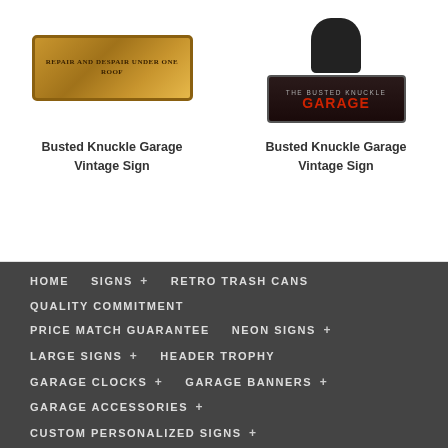[Figure (photo): Busted Knuckle Garage vintage sign - horizontal wood-style sign reading REPAIR AND DESPAIR UNDER ONE ROOF]
Busted Knuckle Garage Vintage Sign
[Figure (photo): Busted Knuckle Garage vintage sign - dark badge style with figure on top]
Busted Knuckle Garage Vintage Sign
HOME
SIGNS +
RETRO TRASH CANS
QUALITY COMMITMENT
PRICE MATCH GUARANTEE
NEON SIGNS +
LARGE SIGNS +
HEADER TROPHY
GARAGE CLOCKS +
GARAGE BANNERS +
GARAGE ACCESSORIES +
CUSTOM PERSONALIZED SIGNS +